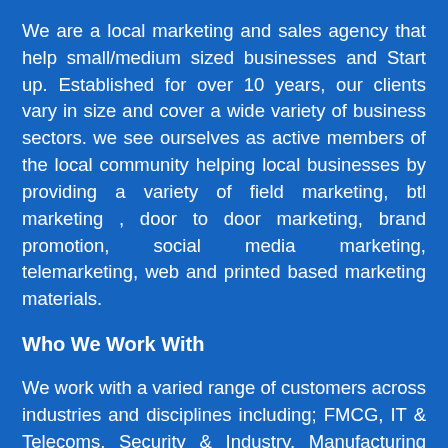We are a local marketing and sales agency that help small/medium sized businesses and Start up. Established for over 10 years, our clients vary in size and cover a wide variety of business sectors. we see ourselves as active members of the local community helping local businesses by providing a variety of field marketing, btl marketing , door to door marketing, brand promotion, social media marketing, telemarketing, web and printed based marketing materials.
Who We Work With
We work with a varied range of customers across industries and disciplines including; FMCG, IT & Telecoms, Security & Industry, Manufacturing and Estate Agencies.